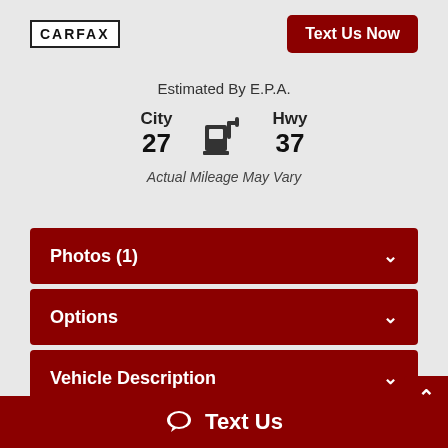[Figure (logo): CARFAX logo in black box on white background]
Text Us Now
Estimated By E.P.A.
City
27
[Figure (other): Fuel pump icon]
Hwy
37
Actual Mileage May Vary
Photos (1)
Options
Vehicle Description
CarStory®
Text Us